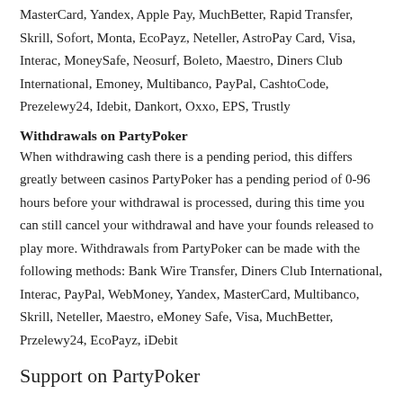MasterCard, Yandex, Apple Pay, MuchBetter, Rapid Transfer, Skrill, Sofort, Monta, EcoPayz, Neteller, AstroPay Card, Visa, Interac, MoneySafe, Neosurf, Boleto, Maestro, Diners Club International, Emoney, Multibanco, PayPal, CashtoCode, Prezelewy24, Idebit, Dankort, Oxxo, EPS, Trustly
Withdrawals on PartyPoker
When withdrawing cash there is a pending period, this differs greatly between casinos PartyPoker has a pending period of 0-96 hours before your withdrawal is processed, during this time you can still cancel your withdrawal and have your founds released to play more. Withdrawals from PartyPoker can be made with the following methods: Bank Wire Transfer, Diners Club International, Interac, PayPal, WebMoney, Yandex, MasterCard, Multibanco, Skrill, Neteller, Maestro, eMoney Safe, Visa, MuchBetter, Przelewy24, EcoPayz, iDebit
Support on PartyPoker